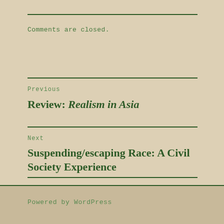Comments are closed.
Previous
Review: Realism in Asia
Next
Suspending/escaping Race: A Civil Society Experience
Powered by WordPress